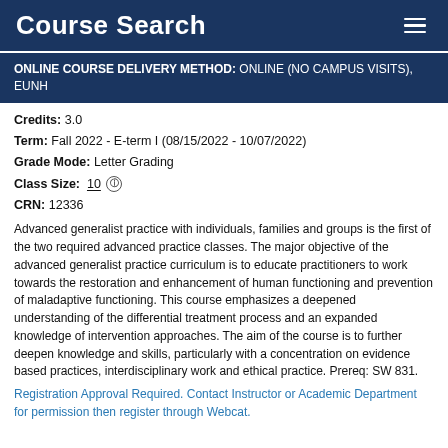Course Search
ONLINE COURSE DELIVERY METHOD: ONLINE (NO CAMPUS VISITS), EUNH
Credits: 3.0
Term: Fall 2022 - E-term I (08/15/2022 - 10/07/2022)
Grade Mode: Letter Grading
Class Size: 10
CRN: 12336
Advanced generalist practice with individuals, families and groups is the first of the two required advanced practice classes. The major objective of the advanced generalist practice curriculum is to educate practitioners to work towards the restoration and enhancement of human functioning and prevention of maladaptive functioning. This course emphasizes a deepened understanding of the differential treatment process and an expanded knowledge of intervention approaches. The aim of the course is to further deepen knowledge and skills, particularly with a concentration on evidence based practices, interdisciplinary work and ethical practice. Prereq: SW 831.
Registration Approval Required. Contact Instructor or Academic Department for permission then register through Webcat.